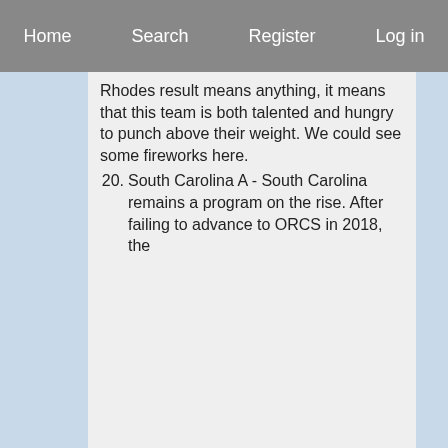Home   Search   Register   Log in
Rhodes result means anything, it means that this team is both talented and hungry to punch above their weight. We could see some fireworks here.
20. South Carolina A - South Carolina remains a program on the rise. After failing to advance to ORCS in 2018, the